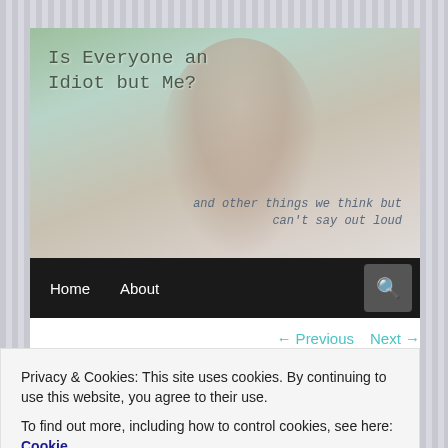[Figure (photo): Blog header photo showing a woman with hands covering face, sitting on a couch near windows with greenery visible outside. Blog title overlaid on photo.]
Is Everyone an Idiot but Me?
and other things we think but can't say out loud
Home   About
← Previous   Next →
The Folly of My Food
Privacy & Cookies: This site uses cookies. By continuing to use this website, you agree to their use.
To find out more, including how to control cookies, see here: Cookie Policy
Close and accept
stop and ask yourself, Why am I doing this again? For